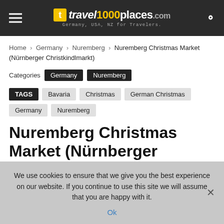travel1000places.com — Germany, USA, NZ for Travelers.
Home › Germany › Nuremberg › Nuremberg Christmas Market (Nürnberger Christkindlmarkt)
Categories  Germany  Nuremberg
TAGS  Bavaria  Christmas  German Christmas  Germany  Nuremberg
Nuremberg Christmas Market (Nürnberger Christkindlmarkt)
Updated: 2019-Mar-28   2018-Nov-30   1527
We use cookies to ensure that we give you the best experience on our website. If you continue to use this site we will assume that you are happy with it. Ok